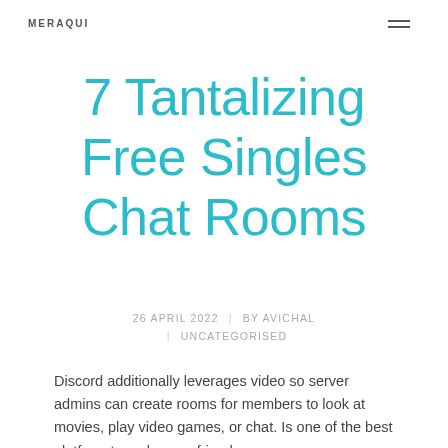MERAQUI
7 Tantalizing Free Singles Chat Rooms
26 APRIL 2022  |  BY AVICHAL  |  UNCATEGORISED
Discord additionally leverages video so server admins can create rooms for members to look at movies, play video games, or chat. Is one of the best platform to make new friends